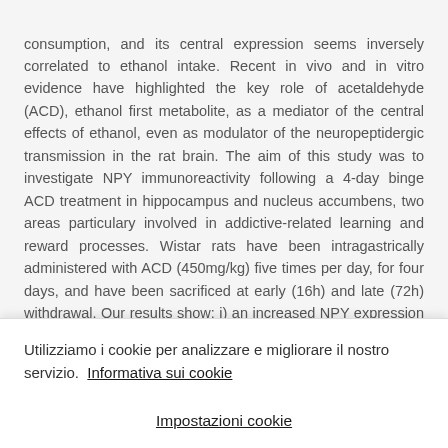consumption, and its central expression seems inversely correlated to ethanol intake. Recent in vivo and in vitro evidence have highlighted the key role of acetaldehyde (ACD), ethanol first metabolite, as a mediator of the central effects of ethanol, even as modulator of the neuropeptidergic transmission in the rat brain. The aim of this study was to investigate NPY immunoreactivity following a 4-day binge ACD treatment in hippocampus and nucleus accumbens, two areas particulary involved in addictive-related learning and reward processes. Wistar rats have been intragastrically administered with ACD (450mg/kg) five times per day, for four days, and have been sacrificed at early (16h) and late (72h) withdrawal. Our results show: i) an increased NPY expression at 16h and 72h after the last administration in hippocampus (p< 0.001; p< 0.001) and nucleus accumbens (p< 0.05; p< 0.001) compared to controls
Utilizziamo i cookie per analizzare e migliorare il nostro servizio.  Informativa sui cookie
Impostazioni cookie